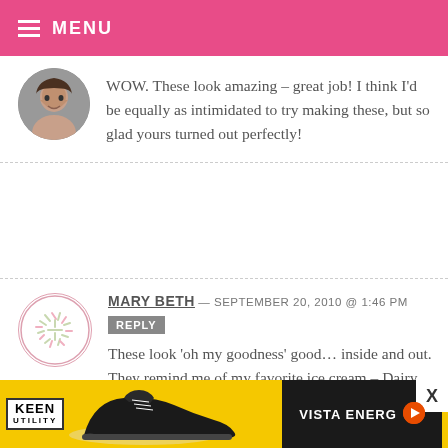MENU
WOW. These look amazing – great job! I think I'd be equally as intimidated to try making these, but so glad yours turned out perfectly!
MARY BETH — SEPTEMBER 20, 2010 @ 1:46 PM
These look 'oh my goodness' good… inside and out. They remind me of my favorite ice cream – Dairy Queen
[Figure (other): Advertisement banner showing KEEN Utility work boots with yellow background and VISTA ENERGY logo]